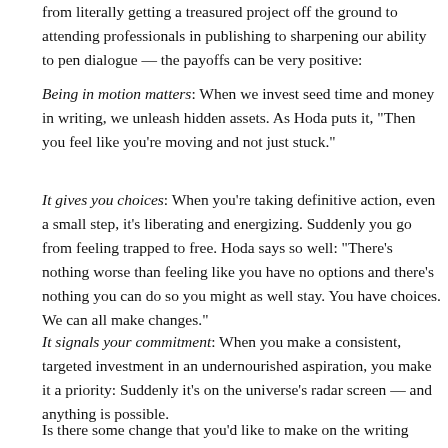from literally getting a treasured project off the ground to attending professionals in publishing to sharpening our ability to pen dialogue — the payoffs can be very positive:
Being in motion matters: When we invest seed time and money in writing, we unleash hidden assets. As Hoda puts it, "Then you feel like you're moving and not just stuck."
It gives you choices: When you're taking definitive action, even a small step, it's liberating and energizing. Suddenly you go from feeling trapped to free. Hoda says so well: "There's nothing worse than feeling like you have no options and there's nothing you can do so you might as well stay. You have choices. We can all make changes."
It signals your commitment: When you make a consistent, targeted investment in an undernourished aspiration, you make it a priority: Suddenly it's on the universe's radar screen — and anything is possible.
Is there some change that you'd like to make on the writing front